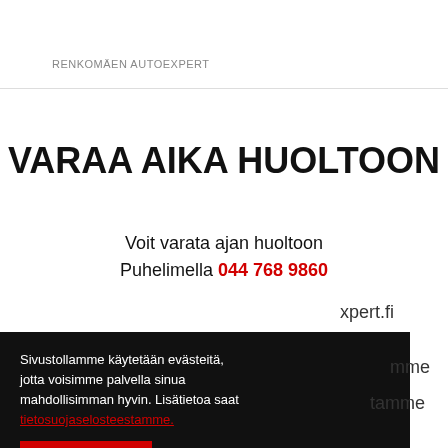RENKOMÄEN AUTOEXPERT
VARAA AIKA HUOLTOON
Voit varata ajan huoltoon Puhelimella 044 768 9860
xpert.fi
Sivustollamme käytetään evästeitä, jotta voisimme palvella sinua mahdollisimman hyvin. Lisätietoa saat tietosuojaselosteestamme.
mme
tamme
HYVÄKSYN